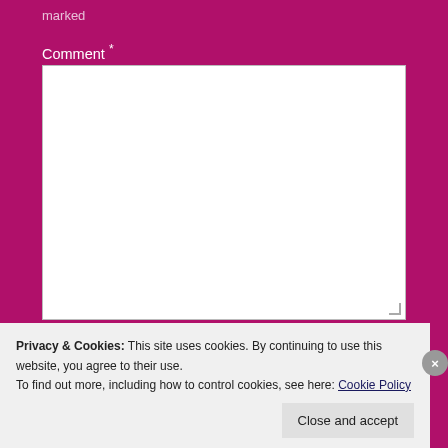marked
Comment *
[Figure (screenshot): White textarea input field for comment entry]
Name *
[Figure (screenshot): White text input field for name]
Email *
[Figure (screenshot): White text input field for email]
Privacy & Cookies: This site uses cookies. By continuing to use this website, you agree to their use.
To find out more, including how to control cookies, see here: Cookie Policy
Close and accept